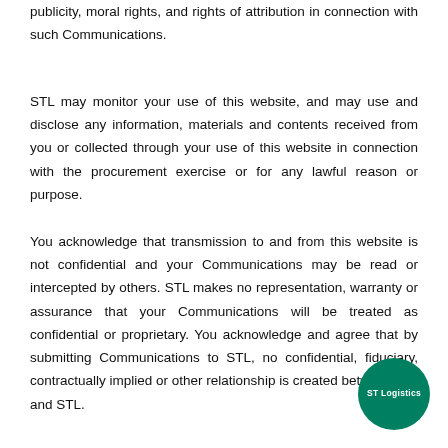publicity, moral rights, and rights of attribution in connection with such Communications.
STL may monitor your use of this website, and may use and disclose any information, materials and contents received from you or collected through your use of this website in connection with the procurement exercise or for any lawful reason or purpose.
You acknowledge that transmission to and from this website is not confidential and your Communications may be read or intercepted by others. STL makes no representation, warranty or assurance that your Communications will be treated as confidential or proprietary. You acknowledge and agree that by submitting Communications to STL, no confidential, fiduciary, contractually implied or other relationship is created between you and STL.
[Figure (logo): ST Logistics circular logo in teal/green color with white text]